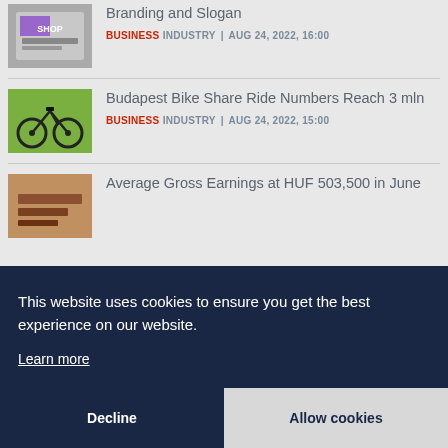Branding and Slogan | BUSINESS INDUSTRY | AUG 24, 2022, 16:00
Budapest Bike Share Ride Numbers Reach 3 mln | BUSINESS INDUSTRY | AUG 24, 2022, 15:00
Average Gross Earnings at HUF 503,500 in June
This website uses cookies to ensure you get the best experience on our website.
Learn more
Decline
Allow cookies